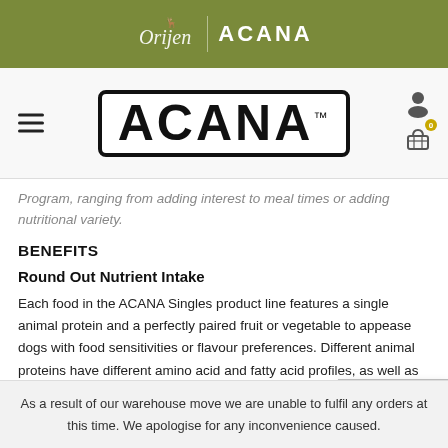Orijen | ACANA
[Figure (logo): ACANA brand logo with navigation bar, hamburger menu, user icon, and cart icon]
Program, ranging from adding interest to meal times or adding nutritional variety.
BENEFITS
Round Out Nutrient Intake
Each food in the ACANA Singles product line features a single animal protein and a perfectly paired fruit or vegetable to appease dogs with food sensitivities or flavour preferences. Different animal proteins have different amino acid and fatty acid profiles, as well as various minerals and vitamins. For example, beef contains significant amounts of iron but is lower in omega-3 fatt
Dismiss
As a result of our warehouse move we are unable to fulfil any orders at this time. We apologise for any inconvenience caused.